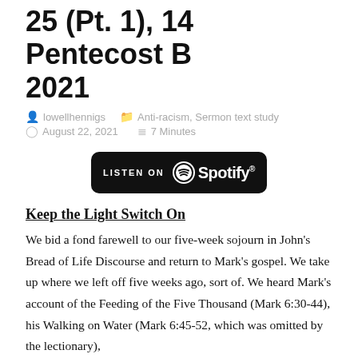25 (Pt. 1), 14 Pentecost B 2021
By lowellhennigs   Anti-racism, Sermon text study   August 22, 2021   7 Minutes
[Figure (other): Spotify 'Listen on Spotify' button — black rounded rectangle with Spotify logo and wordmark in white]
Keep the Light Switch On
We bid a fond farewell to our five-week sojourn in John's Bread of Life Discourse and return to Mark's gospel. We take up where we left off five weeks ago, sort of. We heard Mark's account of the Feeding of the Five Thousand (Mark 6:30-44), his Walking on Water (Mark 6:45-52, which was omitted by the lectionary),